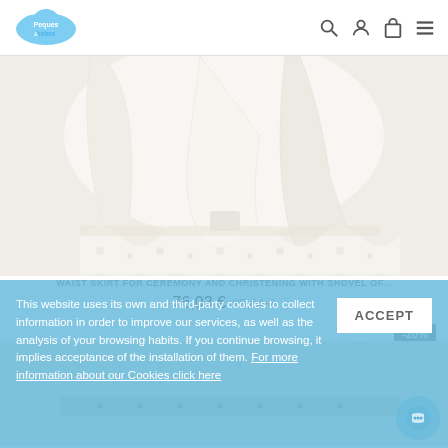Peques & bebes — navigation header with logo and icons
[Figure (photo): Close-up photo of a white christening waist skirt with lace trim and embroidered floral border at the hem, on a light background]
WAIST SKIRT FOR CEREMONY AND CHRISTENING WITH SHOVEL OF...
76,03 € 95,04 €
-20%
[Figure (photo): Partial photo of a cream/beige christening garment with embroidered trim, cropped at bottom of page]
This website uses its own and third-party cookies to collect information in order to improve our services, as well as the analysis of your browsing habits. If you continue browsing, it implies acceptance of the installation of them. For more information about our Cookies click here